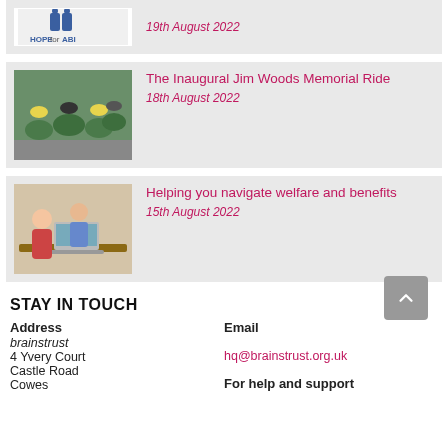[Figure (logo): HOPE for ABI logo with two figures]
19th August 2022
[Figure (photo): Cyclists in a road cycling event]
The Inaugural Jim Woods Memorial Ride
18th August 2022
[Figure (photo): Two people, a woman and a man, looking at a laptop together]
Helping you navigate welfare and benefits
15th August 2022
STAY IN TOUCH
Address
brainstrust
4 Yvery Court
Castle Road
Cowes
Email
hq@brainstrust.org.uk
For help and support
hello@brainstrust.org.uk